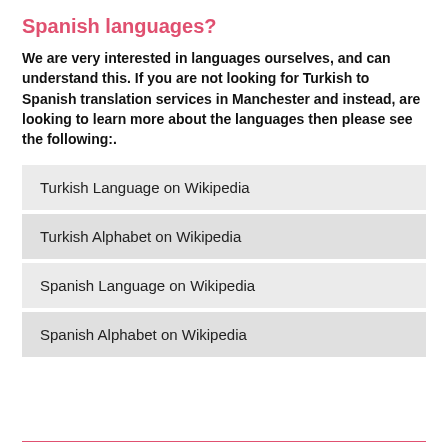Spanish languages?
We are very interested in languages ourselves, and can understand this. If you are not looking for Turkish to Spanish translation services in Manchester and instead, are looking to learn more about the languages then please see the following:.
Turkish Language on Wikipedia
Turkish Alphabet on Wikipedia
Spanish Language on Wikipedia
Spanish Alphabet on Wikipedia